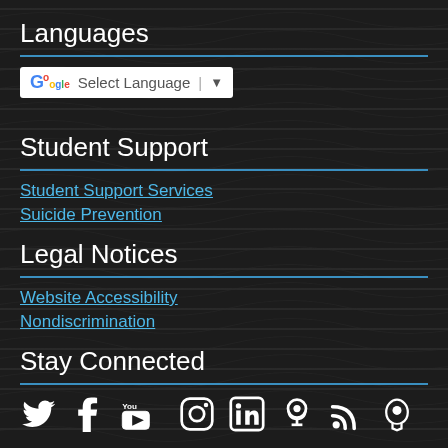Languages
[Figure (screenshot): Google Translate widget showing 'Select Language' dropdown with Google G logo and dropdown arrow]
Student Support
Student Support Services
Suicide Prevention
Legal Notices
Website Accessibility
Nondiscrimination
Stay Connected
[Figure (infographic): Social media icons row: Twitter, Facebook, YouTube, Instagram, LinkedIn, Podcast/Accessibility, RSS, Peachjar]